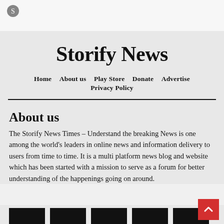Storify News
Home   About us   Play Store   Donate   Advertise   Privacy Policy
About us
The Storify News Times – Understand the breaking News is one among the world's leaders in online news and information delivery to users from time to time. It is a multi platform news blog and website which has been started with a mission to serve as a forum for better understanding of the happenings going on around.